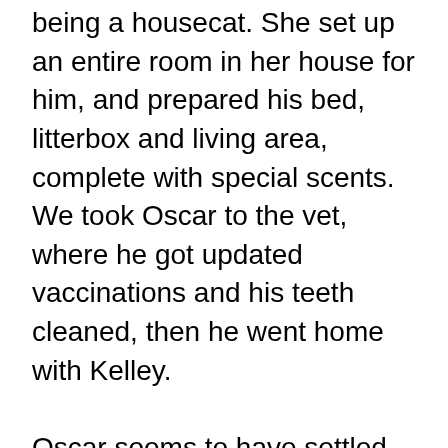being a housecat. She set up an entire room in her house for him, and prepared his bed, litterbox and living area, complete with special scents. We took Oscar to the vet, where he got updated vaccinations and his teeth cleaned, then he went home with Kelley.

Oscar seems to have settled into house life very easily! He had no issues with the dogs, and while he's not best buds with the other kitties yet, there aren't any outrageous conflicts. Kelley even put Oscar on a leash and walked him around her backyard so he can get used to the scents out there. She said he was fine on the leash, as long as he got to